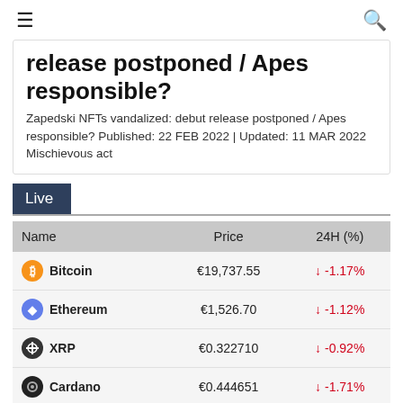☰  🔍
release postponed / Apes responsible?
Zapedski NFTs vandalized: debut release postponed / Apes responsible? Published: 22 FEB 2022 | Updated: 11 MAR 2022 Mischievous act
Live
| Name | Price | 24H (%) |
| --- | --- | --- |
| Bitcoin | €19,737.55 | ↓ -1.17% |
| Ethereum | €1,526.70 | ↓ -1.12% |
| XRP | €0.322710 | ↓ -0.92% |
| Cardano | €0.444651 | ↓ -1.71% |